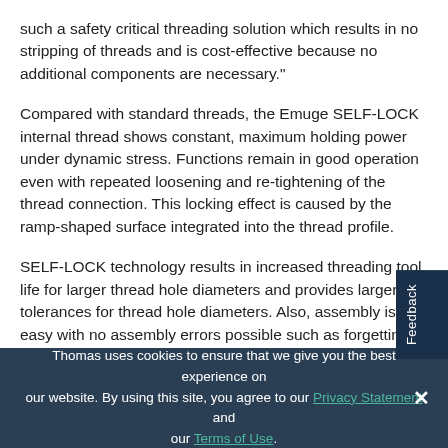such a safety critical threading solution which results in no stripping of threads and is cost-effective because no additional components are necessary."
Compared with standard threads, the Emuge SELF-LOCK internal thread shows constant, maximum holding power under dynamic stress. Functions remain in good operation even with repeated loosening and re-tightening of the thread connection. This locking effect is caused by the ramp-shaped surface integrated into the thread profile.
SELF-LOCK technology results in increased threading tool life for larger thread hole diameters and provides larger tolerances for thread hole diameters. Also, assembly is easy with no assembly errors possible such as forgetting the locking element. To use a SELF-LOCK thread a f...
Thomas uses cookies to ensure that we give you the best experience on our website. By using this site, you agree to our Privacy Statement and our Terms of Use.